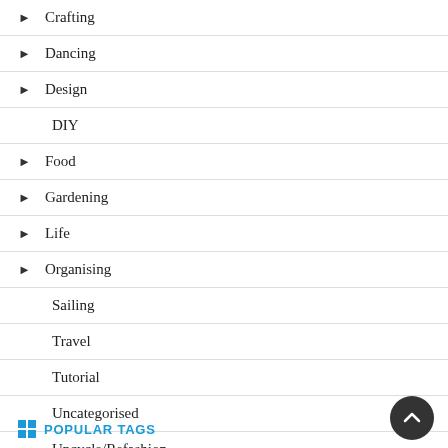▶ Crafting
▶ Dancing
▶ Design
DIY
▶ Food
▶ Gardening
▶ Life
▶ Organising
Sailing
Travel
Tutorial
Uncategorised
Upcycle/Refashion
POPULAR TAGS